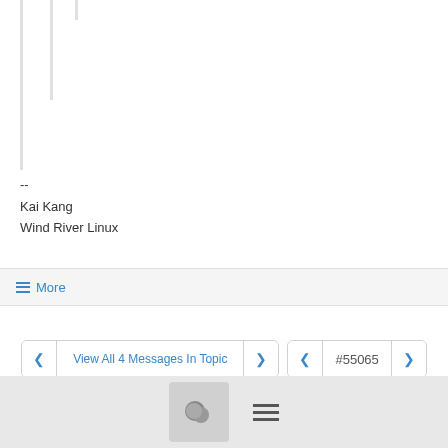--
Kai Kang
Wind River Linux
≡ More
< View All 4 Messages In Topic > < #55065 >
Join yocto@lists.yoctoproject.org to automatically receive all group messages.
[Figure (screenshot): Website footer with chat bubble icon button and hamburger menu icon]